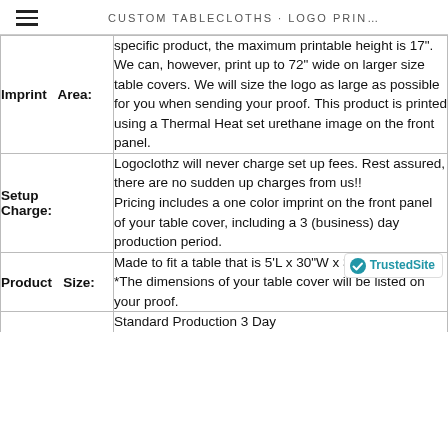CUSTOM TABLECLOTHS · LOGO PRIN…
|  |  |
| --- | --- |
| Imprint   Area: | specific product, the maximum printable height is 17". We can, however, print up to 72" wide on larger size table covers. We will size the logo as large as possible for you when sending your proof. This product is printed using a Thermal Heat set urethane image on the front panel. |
| Setup
Charge: | Logoclothz will never charge set up fees. Rest assured, there are no sudden up charges from us!!
Pricing includes a one color imprint on the front panel of your table cover, including a 3 (business) day production period. |
| Product   Size: | Made to fit a table that is 5'L x 30"W x 30"H.
*The dimensions of your table cover will be listed on your proof. |
|  | Standard Production 3 Day |